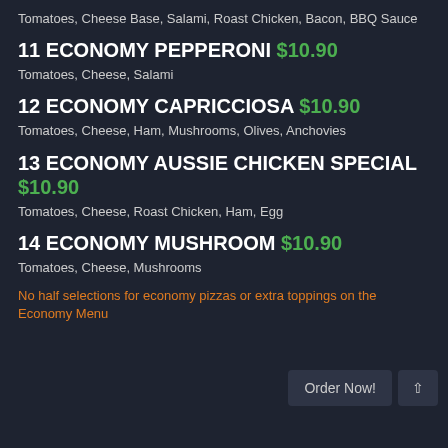Tomatoes, Cheese Base, Salami, Roast Chicken, Bacon, BBQ Sauce
11 ECONOMY PEPPERONI $10.90
Tomatoes, Cheese, Salami
12 ECONOMY CAPRICCIOSA $10.90
Tomatoes, Cheese, Ham, Mushrooms, Olives, Anchovies
13 ECONOMY AUSSIE CHICKEN SPECIAL $10.90
Tomatoes, Cheese, Roast Chicken, Ham, Egg
14 ECONOMY MUSHROOM $10.90
Tomatoes, Cheese, Mushrooms
No half selections for economy pizzas or extra toppings on the Economy Menu